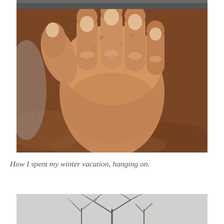[Figure (photo): Close-up photograph of a human hand resting on a dark brown leather surface. The hand belongs to an older person, fingers curled and pressing down on the leather. Fingernails are visible. The image is taken from above.]
How I spent my winter vacation, hanging on.
[Figure (photo): Partial photograph showing bare winter tree branches against a light grey/white sky. Only the top portion of the image is visible, cropped at the bottom of the page.]